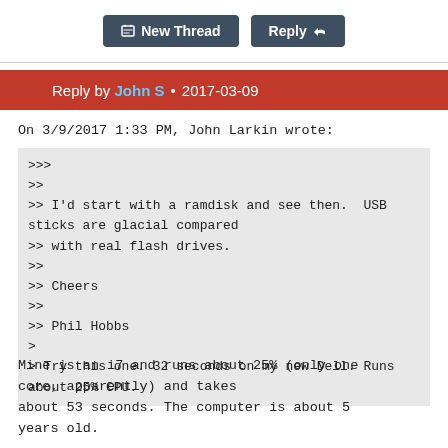New Thread  Reply
Reply by John S • 2017-03-09
On 3/9/2017 1:33 PM, John Larkin wrote:
>>>
>>
>> I'd start with a ramdisk and see then.  USB sticks are glacial compared
>> with real flash drives.
>>
>> Cheers
>>
>> Phil Hobbs
>
> Try this one. 32 seconds on my new Dell. Runs about 25% CPU.
Mine is an i7 and runs about 25% (only one core, apparently) and takes about 53 seconds. The computer is about 5 years old.